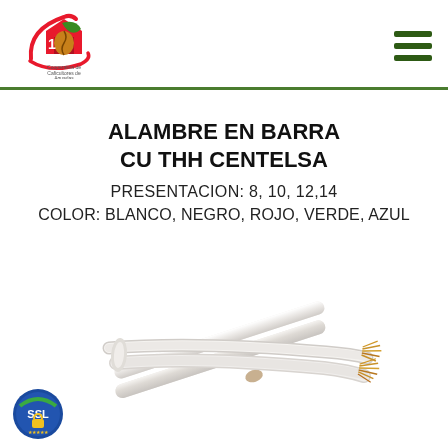[Figure (logo): Cooperativa de Caficultores de Aguadas logo with coffee/leaf emblem in red and green, hamburger menu icon in dark green on the right]
ALAMBRE EN BARRA
CU THH CENTELSA
PRESENTACION: 8, 10, 12,14
COLOR: BLANCO, NEGRO, ROJO, VERDE, AZUL
[Figure (photo): White insulated copper wire/cable in bar form, showing two parallel conductors with exposed copper strands at one end]
[Figure (logo): SSL security badge in blue and green circle]